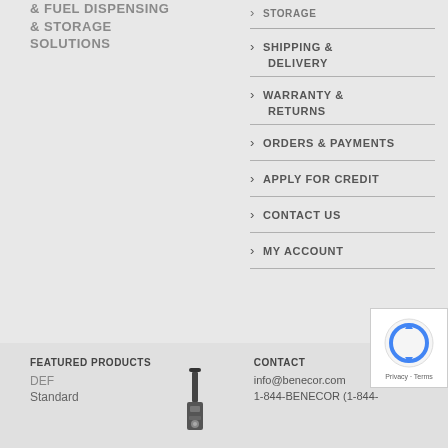& FUEL DISPENSING & STORAGE SOLUTIONS
STORAGE
SHIPPING & DELIVERY
WARRANTY & RETURNS
ORDERS & PAYMENTS
APPLY FOR CREDIT
CONTACT US
MY ACCOUNT
FEATURED PRODUCTS
DEF
Standard
[Figure (photo): Product photo of a pump/dispensing unit]
CONTACT
info@benecor.com
1-844-BENECOR (1-844-